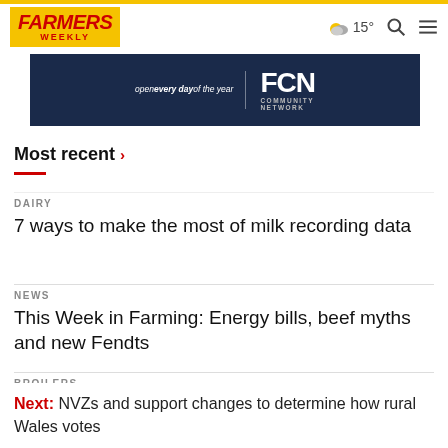FARMERS WEEKLY | 15° | Search | Menu
[Figure (screenshot): Banner advertisement showing FCN Community Network with text 'open every day of the year' on dark navy background]
Most recent ›
DAIRY
7 ways to make the most of milk recording data
NEWS
This Week in Farming: Energy bills, beef myths and new Fendts
BROILERS
Next: NVZs and support changes to determine how rural Wales votes